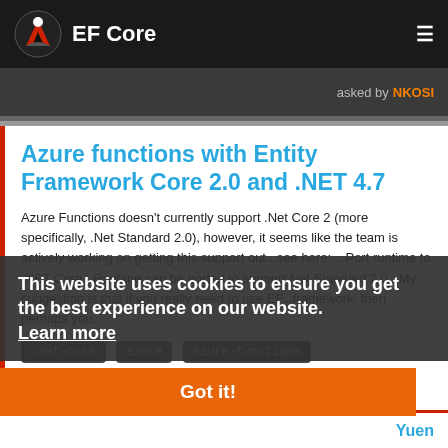EF Core
asked by NKOSI
Azure functions with Entity Framework Core 2.0 and .NET 4.7
Azure Functions doesn't currently support .Net Core 2 (more specifically, .Net Standard 2.0), however, it seems like the team is actively working on getting this support out...see here: ...Port runtime to .NET Core...Runtime can be ported to support Net Standard 2.0...My suggestion is that if you really need to use EF...framework, then perhaps you...
.net-core
azure
azure-functions
This website uses cookies to ensure you get the best experience on our website. Learn more
Got it!
Yuen